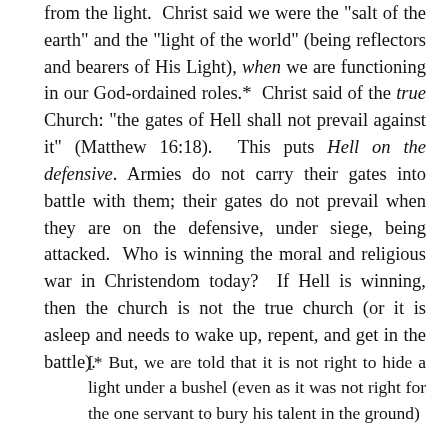from the light.  Christ said we were the "salt of the earth" and the "light of the world" (being reflectors and bearers of His Light), when we are functioning in our God-ordained roles.*  Christ said of the true Church: "the gates of Hell shall not prevail against it" (Matthew 16:18).  This puts Hell on the defensive.  Armies do not carry their gates into battle with them; their gates do not prevail when they are on the defensive, under siege, being attacked.  Who is winning the moral and religious war in Christendom today?  If Hell is winning, then the church is not the true church (or it is asleep and needs to wake up, repent, and get in the battle).
[* But, we are told that it is not right to hide a light under a bushel (even as it was not right for the one servant to bury his talent in the ground)